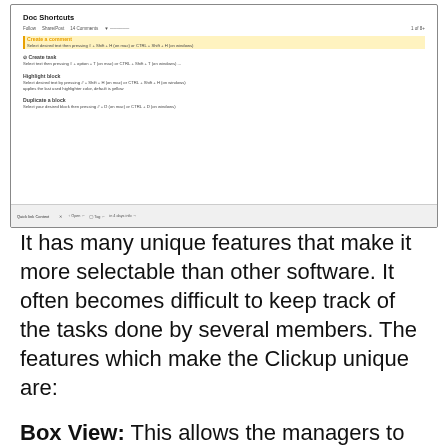[Figure (screenshot): Screenshot of a 'Doc Shortcuts' interface showing keyboard shortcut entries: 'Create a comment', 'Create task', 'Highlight block', and 'Duplicate a block', with a bottom toolbar showing 'Quick link Context' with Open, Tag, and status options.]
It has many unique features that make it more selectable than other software. It often becomes difficult to keep track of the tasks done by several members. The features which make the Clickup unique are:
Box View: This allows the managers to see who is working on what projects, who is over; loaded with work, and who has more capacity.